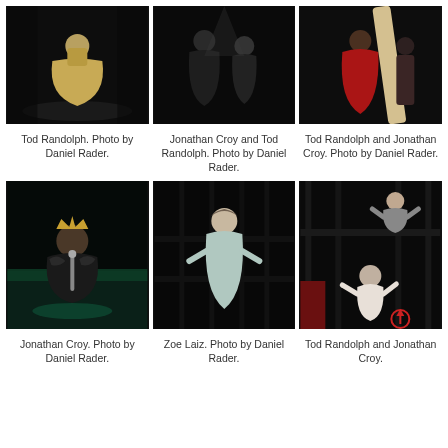[Figure (photo): Theater performance photo: figure in golden dress on dark stage. Tod Randolph.]
[Figure (photo): Theater performance photo: two figures in dark dramatic scene. Jonathan Croy and Tod Randolph.]
[Figure (photo): Theater performance photo: red costume with large white object. Tod Randolph and Jonathan Croy.]
Tod Randolph. Photo by Daniel Rader.
Jonathan Croy and Tod Randolph. Photo by Daniel Rader.
Tod Randolph and Jonathan Croy. Photo by Daniel Rader.
[Figure (photo): Theater performance photo: actor with crown in dark moody scene. Jonathan Croy.]
[Figure (photo): Theater performance photo: woman in light blue dress standing in dark space. Zoe Laiz.]
[Figure (photo): Theater performance photo: woman on scaffolding above, man gesturing below. Tod Randolph and Jonathan Croy.]
Jonathan Croy. Photo by Daniel Rader.
Zoe Laiz. Photo by Daniel Rader.
Tod Randolph and Jonathan Croy.